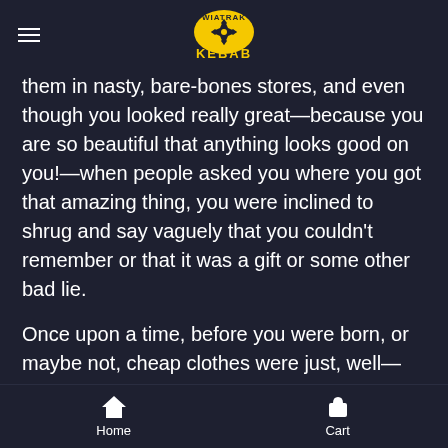Wiatrak Kebab (logo)
them in nasty, bare-bones stores, and even though you looked really great—because you are so beautiful that anything looks good on you!—when people asked you where you got that amazing thing, you were inclined to shrug and say vaguely that you couldn't remember or that it was a gift or some other bad lie.
Once upon a time, before you were born, or maybe not, cheap clothes were just, well—cheap. You bought them in nasty, bare-bones stores, and even though you looked really great—because you are so beautiful that anything looks good on you!—when people asked you
Home  Cart